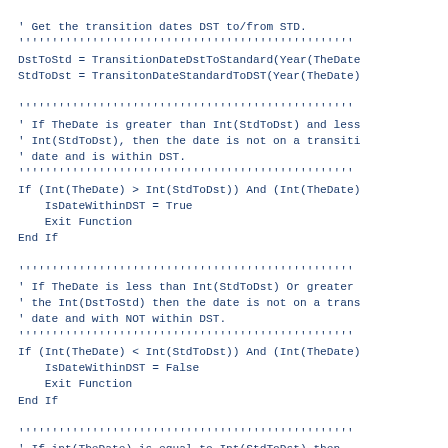' Get the transition dates DST to/from STD.
''''''''''''''''''''''''''''''''''''''''''''''''''
DstToStd = TransitionDateDstToStandard(Year(TheDate
StdToDst = TransitonDateStandardToDST(Year(TheDate)

''''''''''''''''''''''''''''''''''''''''''''''''''
' If TheDate is greater than Int(StdToDst) and less
' Int(StdToDst), then the date is not on a transiti
' date and is within DST.
''''''''''''''''''''''''''''''''''''''''''''''''''
If (Int(TheDate) > Int(StdToDst)) And (Int(TheDate)
    IsDateWithinDST = True
    Exit Function
End If

''''''''''''''''''''''''''''''''''''''''''''''''''
' If TheDate is less than Int(StdToDst) Or greater
' the Int(DstToStd) then the date is not on a trans
' date and with NOT within DST.
''''''''''''''''''''''''''''''''''''''''''''''''''
If (Int(TheDate) < Int(StdToDst)) And (Int(TheDate)
    IsDateWithinDST = False
    Exit Function
End If

''''''''''''''''''''''''''''''''''''''''''''''''''
' If int(TheDate) is equal to Int(StdToDst) then
' we have to compare the time of the input date
' to the time of the StdToDst time.
''''''''''''''''''''''''''''''''''''''''''''''''''